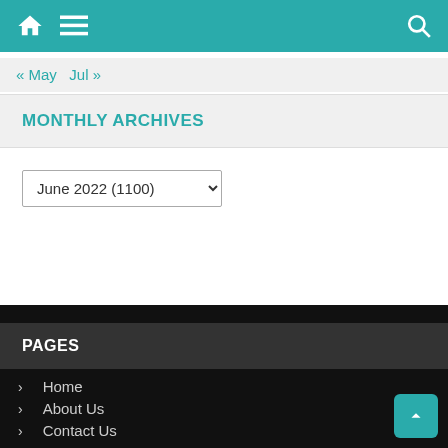Navigation bar with home icon, menu icon, and search icon
« May  Jul »
MONTHLY ARCHIVES
June 2022  (1100)
PAGES
> Home
> About Us
> Contact Us